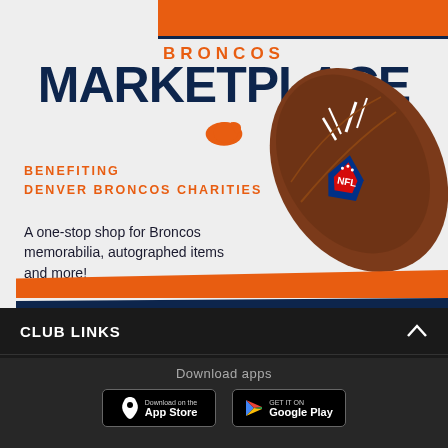[Figure (infographic): Broncos Marketplace advertisement with NFL football, orange and navy branding, Broncos logo, and text about one-stop shop for memorabilia benefiting Denver Broncos Charities]
CLUB LINKS
NFL CLUBS
MORE NFL SITES
Download apps
[Figure (logo): Download on the App Store badge]
[Figure (logo): Get it on Google Play badge]